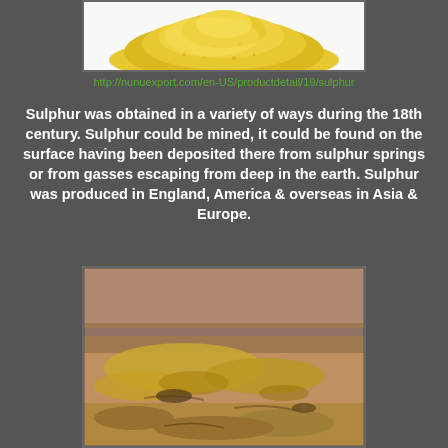[Figure (photo): Yellow sulphur powder/granules on a white background, partially visible at top of page]
http://nunuexport.com/en-US/productdetail/19/sulphur
Sulphur was obtained in a variety of ways during the 18th century. Sulphur could be mined, it could be found on the surface having been deposited there from sulphur springs or from gasses escaping from deep in the earth. Sulphur was produced in England, America & overseas in Asia & Europe.
[Figure (photo): Outdoor scene showing sulphur deposits on rocky/sandy ground near sulphur springs, with yellowy-brown sulfurous mineral deposits visible]